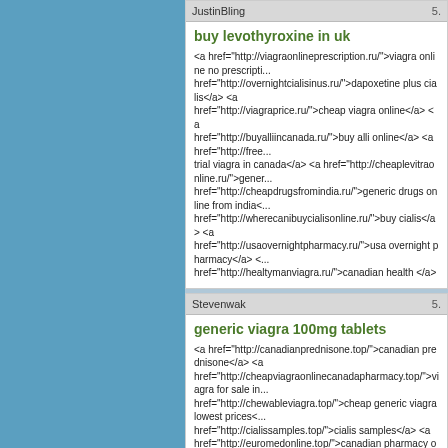JustinBling 5.
buy levothyroxine in uk
<a href="http://viagraonlineprescription.ru/">viagra online no prescripti... href="http://overnightcialisinus.ru/">dapoxetine plus cialis</a> <a href="http://viagraprice.ru/">cheap viagra online</a> <a href="http://buyalliincanada.ru/">buy alli online</a> <a href="http://free... trial viagra in canada</a> <a href="http://cheaplevitraonline.ru/">gener... href="http://cheapdrugsfromindia.ru/">generic drugs online from india<... href="http://wherecanibuycialisonline.ru/">buy cialis</a> <a href="http://usaovernightpharmacy.ru/">usa overnight pharmacy</a> <... href="http://healtymanviagra.ru/">canadian health </a>
Stevenwak 5.
generic viagra 100mg tablets
<a href="http://canadianprednisone.top/">canadian prednisone</a> <a href="http://cheapviagraonlinecanadapharmacy.top/">viagra for sale in... href="http://chewableviagra.top/">cheap generic viagra lowest prices<... href="http://cialissamples.top/">cialis samples</a> <a href="http://euromedonline.top/">canadian pharmacy online no script<... href="http://onlinepharmacynorx.top/">pharmacy rx one</a> <a href="http://propeciawithoutprescription.top/">propecia online australia... href="http://rxexpressonline.top/">rx express online</a> <a href="http://viagra50mgpricewalmart.top/">pfizer viagra price</a> <a href="http://viagracialiscombo.top/">pfizer brand viagra 100mg</a>
Douglaselase 5.
viagra coupon
<a href="http://bootlegviagra.ru/">viagra for sale</a> <a href="http://buy5mgpropeciaintheuk.ru/">real propecia from canadian...